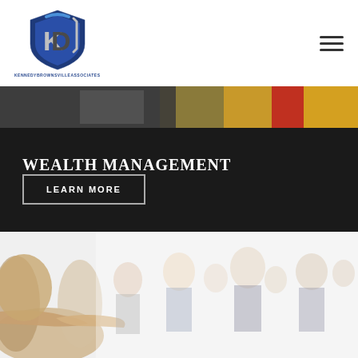[Figure (logo): DKU shield logo with blue and grey design, company name below]
[Figure (photo): Partial photo strip showing colorful background - red, yellow, grey tones]
WEALTH MANAGEMENT
LEARN MORE
[Figure (photo): Business people shaking hands in foreground with group of professionals blurred in background]